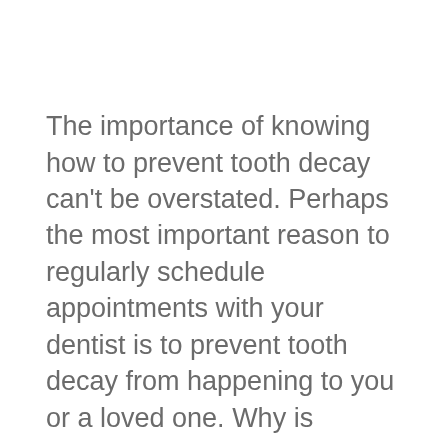The importance of knowing how to prevent tooth decay can't be overstated. Perhaps the most important reason to regularly schedule appointments with your dentist is to prevent tooth decay from happening to you or a loved one. Why is